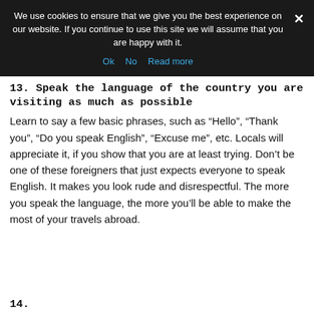We use cookies to ensure that we give you the best experience on our website. If you continue to use this site we will assume that you are happy with it.
Ok  No  Read more
13. Speak the language of the country you are visiting as much as possible
Learn to say a few basic phrases, such as “Hello”, “Thank you”, “Do you speak English”, “Excuse me”, etc. Locals will appreciate it, if you show that you are at least trying. Don’t be one of these foreigners that just expects everyone to speak English. It makes you look rude and disrespectful. The more you speak the language, the more you’ll be able to make the most of your travels abroad.
14.